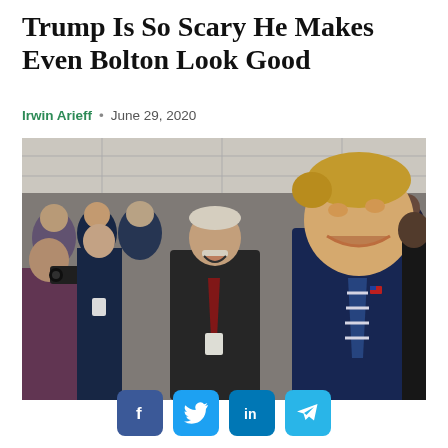Trump Is So Scary He Makes Even Bolton Look Good
Irwin Arieff · June 29, 2020
[Figure (photo): Photo of Donald Trump (right, in blue suit and striped tie) smiling broadly next to John Bolton (center, in dark suit with red tie) at a crowded indoor event with many people in the background, some with cameras.]
[Figure (infographic): Social media share buttons: Facebook (dark blue), Twitter (light blue), LinkedIn (medium blue), Telegram (light blue)]